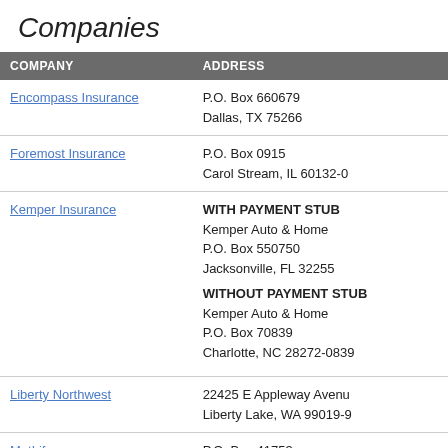Companies
| COMPANY | ADDRESS |
| --- | --- |
| Encompass Insurance | P.O. Box 660679
Dallas, TX 75266 |
| Foremost Insurance | P.O. Box 0915
Carol Stream, IL 60132-0... |
| Kemper Insurance | WITH PAYMENT STUB
Kemper Auto & Home
P.O. Box 550750
Jacksonville, FL 32255

WITHOUT PAYMENT STUB
Kemper Auto & Home
P.O. Box 70839
Charlotte, NC 28272-0839 |
| Liberty Northwest | 22425 E Appleway Avenue
Liberty Lake, WA 99019-9... |
| MetLife | P.O. Box 41753
Philadelphia, PA 19101-17... |
| Ohio Casualty |  |